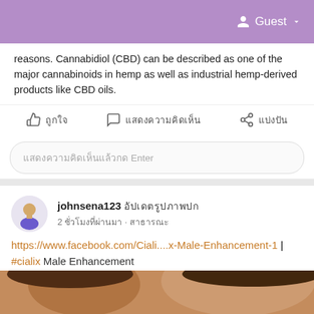Guest
reasons. Cannabidiol (CBD) can be described as one of the major cannabinoids in hemp as well as industrial hemp-derived products like CBD oils.
ถูกใจ  แสดงความคิดเห็น  แบ่งปัน
แสดงความคิดเห็นแล้วกด Enter
johnsena123 อัปเดตรูปภาพปก
2 ชั่วโมงที่ผ่านมา · สาธารณะ
https://www.facebook.com/Ciali....x-Male-Enhancement-1 | #cialix Male Enhancement
[Figure (photo): Close-up photo of a couple lying together, faces close, appearing intimate and relaxed.]